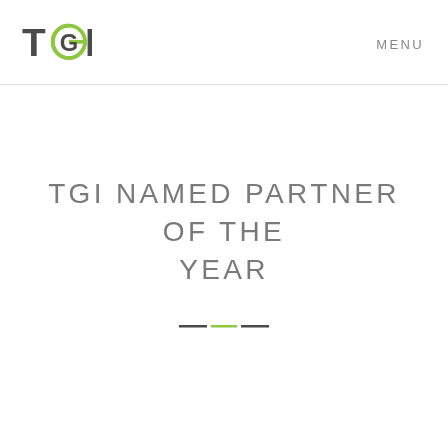TGI  MENU
TGI NAMED PARTNER OF THE YEAR